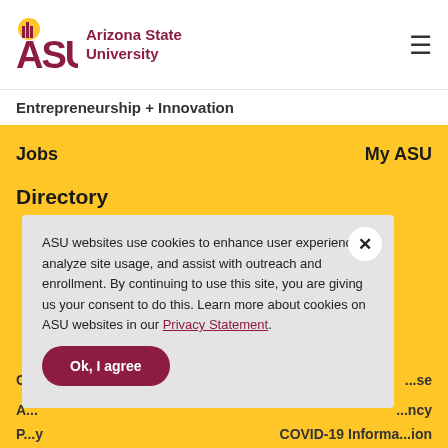ASU Arizona State University
Entrepreneurship + Innovation
Jobs   My ASU
Directory
ASU websites use cookies to enhance user experience, analyze site usage, and assist with outreach and enrollment. By continuing to use this site, you are giving us your consent to do this. Learn more about cookies on ASU websites in our Privacy Statement. Ok, I agree
Privacy   COVID-19 Information
Policy